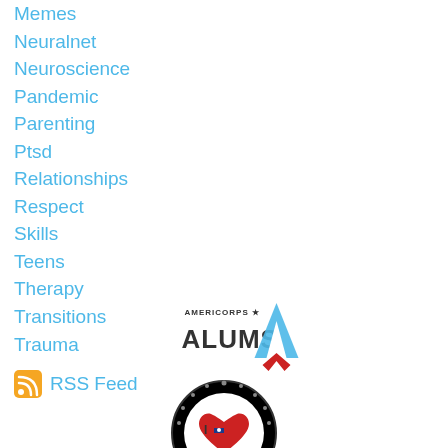Memes
Neuralnet
Neuroscience
Pandemic
Parenting
Ptsd
Relationships
Respect
Skills
Teens
Therapy
Transitions
Trauma
RSS Feed
[Figure (logo): AmeriCorps Alums logo with blue A icon]
[Figure (logo): I Love badge with American flag heart, black circular border]